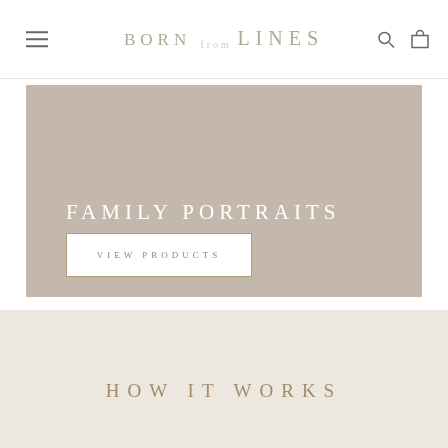BORN from LINES
[Figure (illustration): Hero banner with taupe/beige background color (no photo), containing text 'FAMILY PORTRAITS' and a 'VIEW PRODUCTS' button]
FAMILY PORTRAITS
VIEW PRODUCTS
HOW IT WORKS